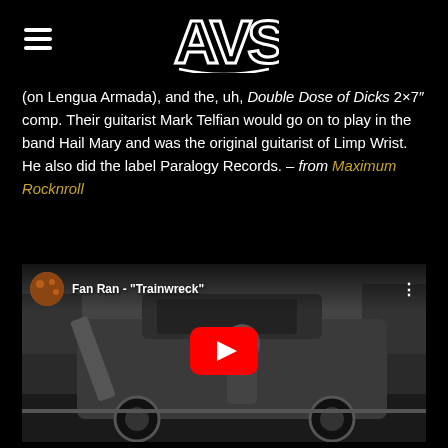AVS logo with hamburger menu
(on Lengua Armada), and the, uh, Double Dose of Dicks 2×7″ comp. Their guitarist Mark Telfian would go on to play in the band Hail Mary and was the original guitarist of Limp Wrist. He also did the label Paralogy Records. – from Maximum Rocknroll
[Figure (screenshot): YouTube video thumbnail for Fan Ran - 'Trainwreck', showing a person sitting in a large SUV/truck in black and white, with YouTube play button overlay]